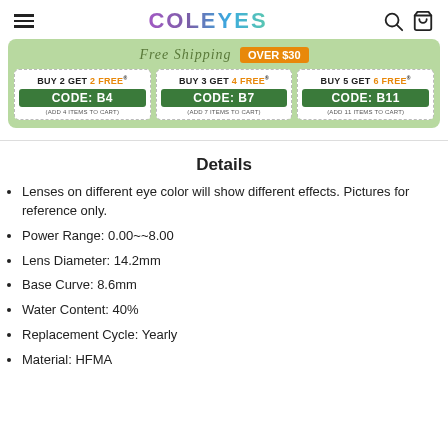COLEYES
[Figure (infographic): Promotional banner with Free Shipping over $30 and three coupon codes: BUY 2 GET 2 FREE CODE: B4 (ADD 4 ITEMS TO CART), BUY 3 GET 4 FREE CODE: B7 (ADD 7 ITEMS TO CART), BUY 5 GET 6 FREE CODE: B11 (ADD 11 ITEMS TO CART)]
Details
Lenses on different eye color will show different effects. Pictures for reference only.
Power Range: 0.00~~8.00
Lens Diameter: 14.2mm
Base Curve: 8.6mm
Water Content: 40%
Replacement Cycle: Yearly
Material: HFMA